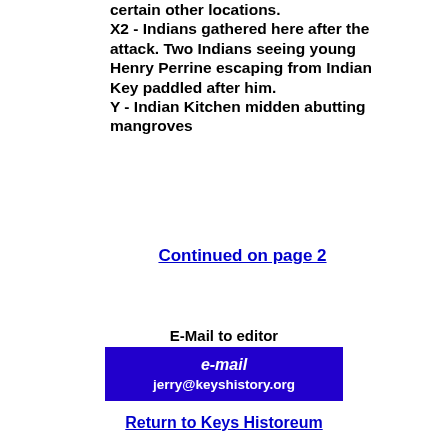certain other locations. X2 - Indians gathered here after the attack. Two Indians seeing young Henry Perrine escaping from Indian Key paddled after him. Y - Indian Kitchen midden abutting mangroves
Continued on page 2
E-Mail to editor
e-mail jerry@keyshistory.org
Return to Keys Historeum